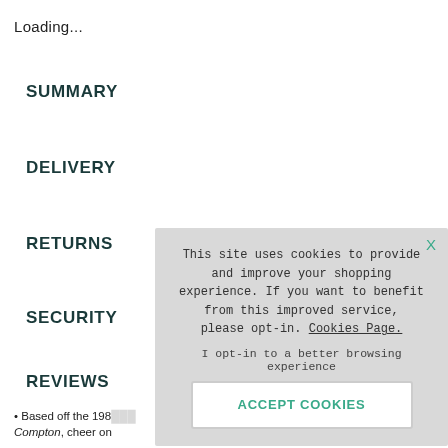Loading...
SUMMARY
DELIVERY
RETURNS
SECURITY
REVIEWS
[Figure (screenshot): Cookie consent overlay popup with message: 'This site uses cookies to provide and improve your shopping experience. If you want to benefit from this improved service, please opt-in. Cookies Page.' with 'I opt-in to a better browsing experience' text and an 'ACCEPT COOKIES' button. An X close button is in the top-right corner.]
Based off the 198... Compton, cheer on